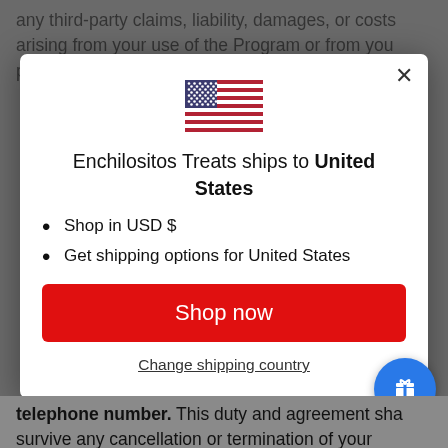any third-party claims, liability, damages, or costs arising from your use of the Program or from you providing us
[Figure (screenshot): A modal dialog over a grayed-out background. Contains a US flag icon, heading 'Enchilositos Treats ships to United States', two bullet points: 'Shop in USD $' and 'Get shipping options for United States', a red 'Shop now' button, and a 'Change shipping country' link. A blue circular gift icon button appears in the bottom right.]
telephone number. This duty and agreement shall survive any cancellation or termination of your agreement